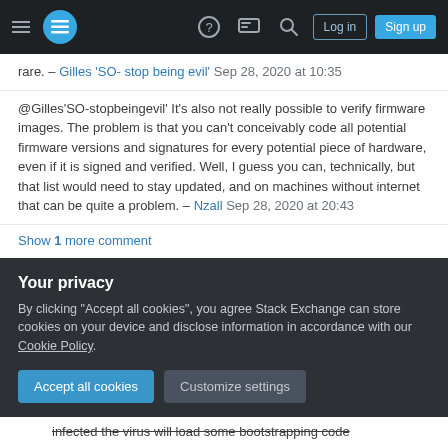Stack Exchange navigation bar with hamburger menu, logo, help, chat, search icons, Log in and Sign up buttons
rare. – Gilles 'SO- stop being evil' Sep 28, 2020 at 10:35
@Gilles'SO-stopbeingevil' It's also not really possible to verify firmware images. The problem is that you can't conceivably code all potential firmware versions and signatures for every potential piece of hardware, even if it is signed and verified. Well, I guess you can, technically, but that list would need to stay updated, and on machines without internet that can be quite a problem. – Nzall Sep 28, 2020 at 20:43
Show 1 more comment
Your privacy
By clicking "Accept all cookies", you agree Stack Exchange can store cookies on your device and disclose information in accordance with our Cookie Policy.
Accept all cookies
Customize settings
infected the virus will load some bootstrapping code into the MBR. If this loading piece is co...